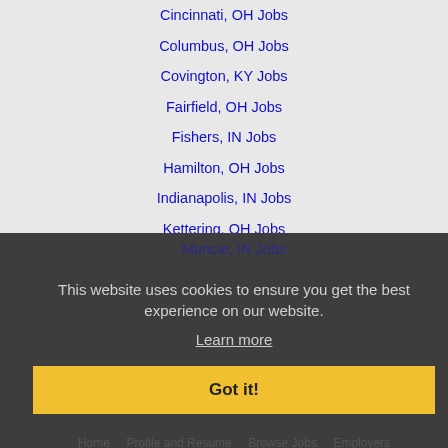Cincinnati, OH Jobs
Columbus, OH Jobs
Covington, KY Jobs
Fairfield, OH Jobs
Fishers, IN Jobs
Hamilton, OH Jobs
Indianapolis, IN Jobs
Kettering, OH Jobs
Lawrence, IN Jobs
Middletown, OH Jobs
Muncie, IN Jobs
This website uses cookies to ensure you get the best experience on our website.
Learn more
Got it!
Home  Profile and Resume  Browse Jobs  Employers  Other Cities  Clients List  About Us  Contact Us  Help  Terms of Use  Register / Log In